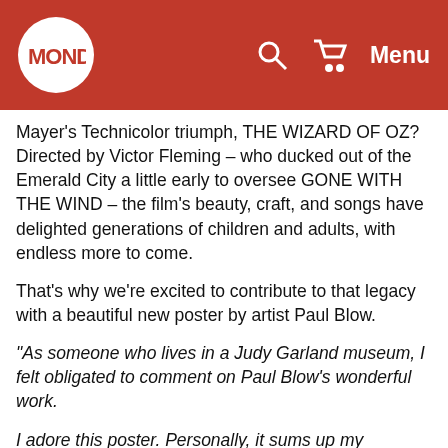Mondo — Search, Cart, Menu
Mayer's Technicolor triumph, THE WIZARD OF OZ? Directed by Victor Fleming – who ducked out of the Emerald City a little early to oversee GONE WITH THE WIND – the film's beauty, craft, and songs have delighted generations of children and adults, with endless more to come.
That's why we're excited to contribute to that legacy with a beautiful new poster by artist Paul Blow.
“As someone who lives in a Judy Garland museum, I felt obligated to comment on Paul Blow’s wonderful work.
I adore this poster. Personally, it sums up my experience with small towns. I came from some places where ruby slippers attracted howls or sometimes rocks. What are ruby slippers in this tired metaphor? Whatever way you